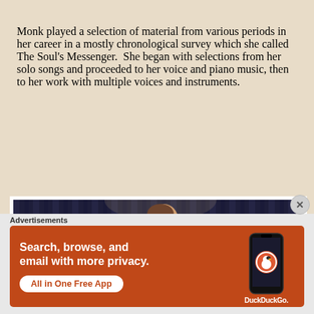Monk played a selection of material from various periods in her career in a mostly chronological survey which she called The Soul's Messenger.  She began with selections from her solo songs and proceeded to her voice and piano music, then to her work with multiple voices and instruments.
[Figure (photo): A woman performing on stage at a piano with a microphone, in front of a dark curtain with vertical folds, lit by stage lighting.]
Advertisements
[Figure (screenshot): DuckDuckGo advertisement banner on orange/red background. Text: 'Search, browse, and email with more privacy. All in One Free App' with DuckDuckGo logo and phone mockup.]